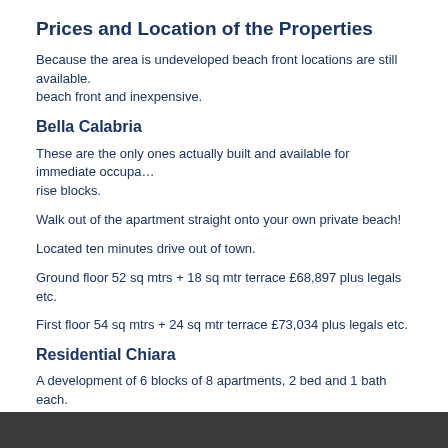Prices and Location of the Properties
Because the area is undeveloped beach front locations are still available. beach front and inexpensive.
Bella Calabria
These are the only ones actually built and available for immediate occupancy rise blocks.
Walk out of the apartment straight onto your own private beach!
Located ten minutes drive out of town.
Ground floor 52 sq mtrs + 18 sq mtr terrace £68,897 plus legals etc.
First floor 54 sq mtrs + 24 sq mtr terrace £73,034 plus legals etc.
Residential Chiara
A development of 6 blocks of 8 apartments, 2 bed and 1 bath each.
About 50 sq mtrs they have both one bed and two bed apartments from